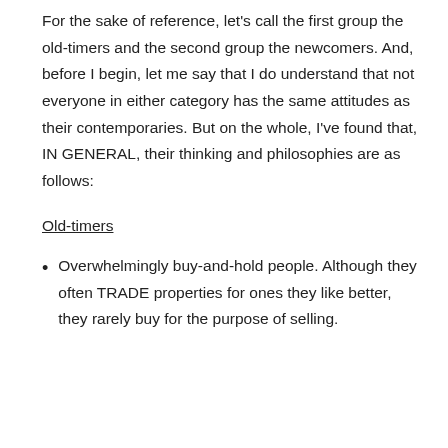For the sake of reference, let's call the first group the old-timers and the second group the newcomers. And, before I begin, let me say that I do understand that not everyone in either category has the same attitudes as their contemporaries. But on the whole, I've found that, IN GENERAL, their thinking and philosophies are as follows:
Old-timers
Overwhelmingly buy-and-hold people. Although they often TRADE properties for ones they like better, they rarely buy for the purpose of selling.